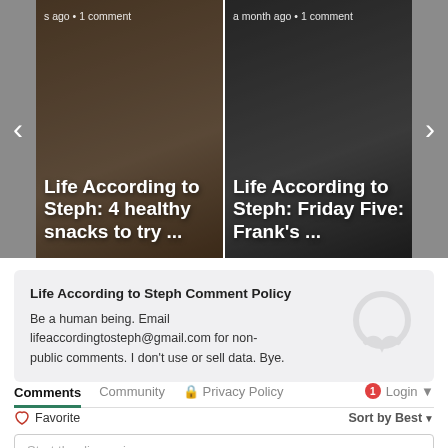[Figure (screenshot): Carousel of two blog post cards. Left card: 'Life According to Steph: 4 healthy snacks to try ...' with meta 's ago · 1 comment'. Right card: 'Life According to Steph: Friday Five: Frank's ...' with meta 'a month ago · 1 comment'. Navigation arrows on left and right.]
Life According to Steph Comment Policy
Be a human being. Email lifeaccordingtosteph@gmail.com for non-public comments. I don't use or sell data. Bye.
Comments   Community   Privacy Policy   1  Login
Favorite   Sort by Best
Start the discussion…